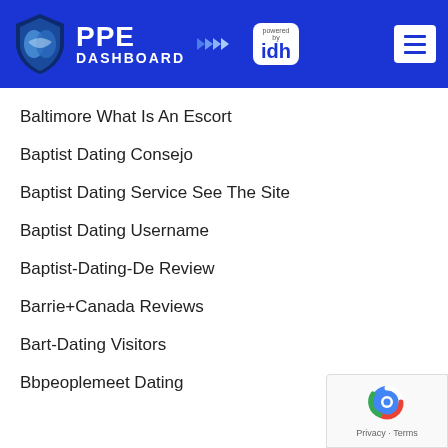PPE DASHBOARD powered by idh
Baltimore What Is An Escort
Baptist Dating Consejo
Baptist Dating Service See The Site
Baptist Dating Username
Baptist-Dating-De Review
Barrie+Canada Reviews
Bart-Dating Visitors
Bbpeoplemeet Dating
[Figure (logo): reCAPTCHA badge with Privacy and Terms links]